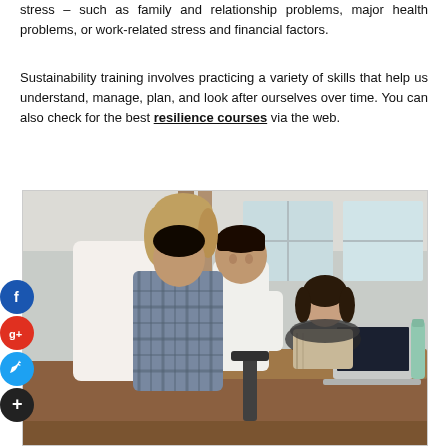stress – such as family and relationship problems, major health problems, or work-related stress and financial factors.
Sustainability training involves practicing a variety of skills that help us understand, manage, plan, and look after ourselves over time. You can also check for the best resilience courses via the web.
[Figure (photo): Office scene with three people collaborating around a laptop — two standing (a woman in white top and a man in plaid shirt) and one seated woman looking at a laptop on a wooden desk. Modern open-plan office with large windows in the background. Social media share icons (Facebook, Google+, Twitter, add) visible on the left side.]